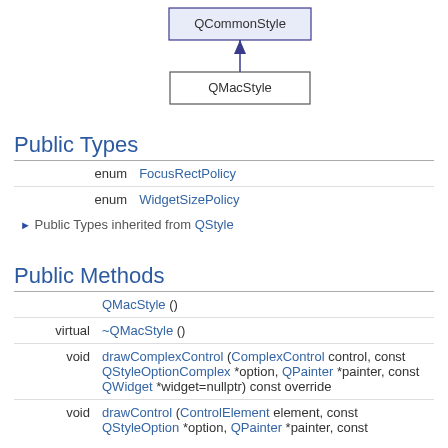[Figure (organizational-chart): UML class diagram showing QCommonStyle as parent with an arrow pointing down to QMacStyle child class]
Public Types
|  |  |
| --- | --- |
| enum | FocusRectPolicy |
| enum | WidgetSizePolicy |
▶ Public Types inherited from QStyle
Public Methods
|  |  |
| --- | --- |
|  | QMacStyle () |
| virtual | ~QMacStyle () |
| void | drawComplexControl (ComplexControl control, const QStyleOptionComplex *option, QPainter *painter, const QWidget *widget=nullptr) const override |
| void | drawControl (ControlElement element, const QStyleOption *option, QPainter *painter, const |